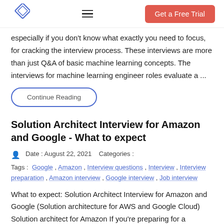Get a Free Trial
especially if you don't know what exactly you need to focus, for cracking the interview process. These interviews are more than just Q&A of basic machine learning concepts. The interviews for machine learning engineer roles evaluate a ...
Continue Reading
Solution Architect Interview for Amazon and Google - What to expect
Date : August 22, 2021   Categories :
Tags :  Google , Amazon , Interview questions , Interview , Interview preparation , Amazon interview , Google interview , Job interview
What to expect: Solution Architect Interview for Amazon and Google (Solution architecture for AWS and Google Cloud) Solution architect for Amazon If you're preparing for a Solutions...